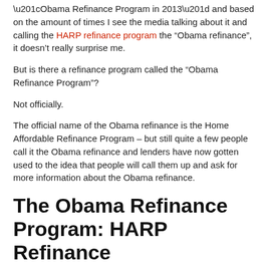“Obama Refinance Program in 2013” and based on the amount of times I see the media talking about it and calling the HARP refinance program the “Obama refinance”, it doesn’t really surprise me.
But is there a refinance program called the “Obama Refinance Program”?
Not officially.
The official name of the Obama refinance is the Home Affordable Refinance Program – but still quite a few people call it the Obama refinance and lenders have now gotten used to the idea that people will call them up and ask for more information about the Obama refinance.
The Obama Refinance Program: HARP Refinance
The HARP refinance program was designed for homeowners who owe more on their house than it is worth due to falling real